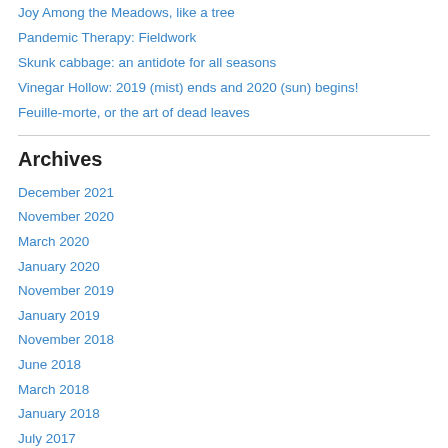Joy Among the Meadows, like a tree
Pandemic Therapy: Fieldwork
Skunk cabbage: an antidote for all seasons
Vinegar Hollow: 2019 (mist) ends and 2020 (sun) begins!
Feuille-morte, or the art of dead leaves
Archives
December 2021
November 2020
March 2020
January 2020
November 2019
January 2019
November 2018
June 2018
March 2018
January 2018
July 2017
May 2017